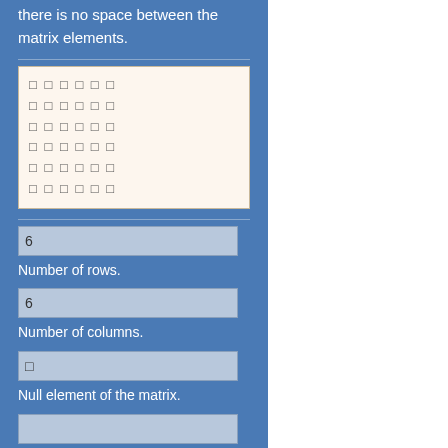there is no space between the matrix elements.
[Figure (other): A 6x6 matrix displayed in a beige/cream box with unicode square characters arranged in 6 rows and 6 columns]
6
Number of rows.
6
Number of columns.
□
Null element of the matrix.
Separate matrix columns with this character.